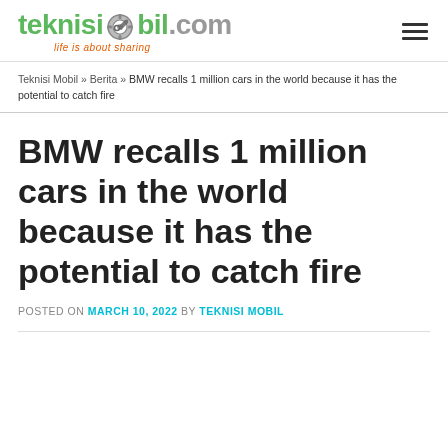teknisimobil.com — life is about sharing
Teknisi Mobil » Berita » BMW recalls 1 million cars in the world because it has the potential to catch fire
BMW recalls 1 million cars in the world because it has the potential to catch fire
POSTED ON MARCH 10, 2022 BY TEKNISI MOBIL